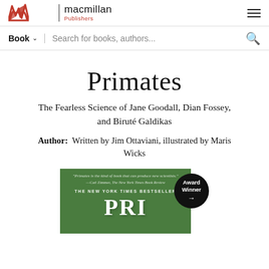macmillan Publishers
Book  Search for books, authors...
Primates
The Fearless Science of Jane Goodall, Dian Fossey, and Biruté Galdikas
Author:  Written by Jim Ottaviani, illustrated by Maris Wicks
[Figure (photo): Book cover of Primates on green background showing 'The New York Times Bestseller' text and partial title, with an Award Winner badge overlay]